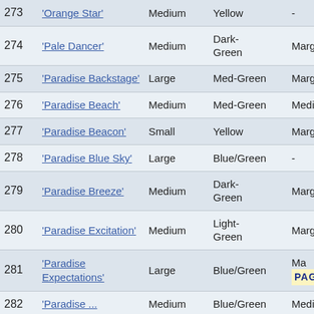| # | Name | Size | Color | Marking | Flower Color |
| --- | --- | --- | --- | --- | --- |
| 273 | 'Orange Star' | Medium | Yellow | - | - |
| 274 | 'Pale Dancer' | Medium | Dark-Green | Marginal | Yellow |
| 275 | 'Paradise Backstage' | Large | Med-Green | Marginal | Yellow |
| 276 | 'Paradise Beach' | Medium | Med-Green | Medial | Yellow |
| 277 | 'Paradise Beacon' | Small | Yellow | Marginal | White |
| 278 | 'Paradise Blue Sky' | Large | Blue/Green | - | - |
| 279 | 'Paradise Breeze' | Medium | Dark-Green | Marginal | White |
| 280 | 'Paradise Excitation' | Medium | Light-Green | Marginal | Yellow |
| 281 | 'Paradise Expectations' | Large | Blue/Green | Ma[PAGE TOP] | ow |
| 282 | 'Paradise ...' | Medium | Blue/Green | Medial | Green |